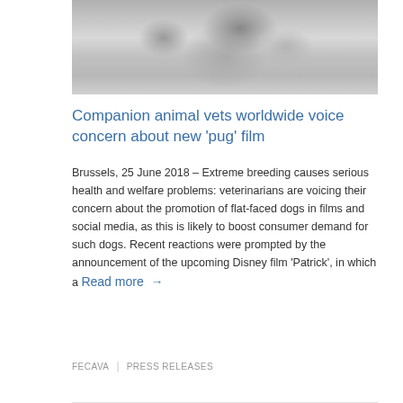[Figure (photo): Black and white close-up photo of a pug dog looking downward]
Companion animal vets worldwide voice concern about new ‘pug’ film
Brussels, 25 June 2018 – Extreme breeding causes serious health and welfare problems: veterinarians are voicing their concern about the promotion of flat-faced dogs in films and social media, as this is likely to boost consumer demand for such dogs. Recent reactions were prompted by the announcement of the upcoming Disney film ‘Patrick’, in which a Read more →
FECAVA | PRESS RELEASES